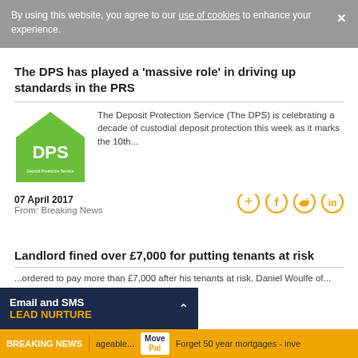By using this website, you agree to our use of cookies to enhance your experience.
The DPS has played a ‘massive role’ in driving up standards in the PRS
[Figure (logo): DPS (Deposit Protection Service) green house-shaped logo with white DPS text]
The Deposit Protection Service (The DPS) is celebrating a decade of custodial deposit protection this week as it marks the 10th...
07 April 2017
From: Breaking News
Landlord fined over £7,000 for putting tenants at risk
...ordered to pay more than £7,000 after his tenants at risk. Daniel Woulfe of...
BREAKING NEWS | ageable... | Forget 50 year mortgages - inve